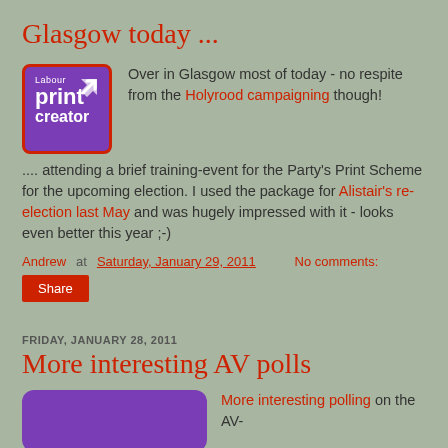Glasgow today ...
[Figure (logo): Labour print creator logo — purple square with white text and red border, arrow icon top right]
Over in Glasgow most of today - no respite from the Holyrood campaigning though!
.... attending a brief training-event for the Party's Print Scheme for the upcoming election. I used the package for Alistair's re-election last May and was hugely impressed with it - looks even better this year ;-)
Andrew at Saturday, January 29, 2011   No comments:
Share
FRIDAY, JANUARY 28, 2011
More interesting AV polls
[Figure (illustration): Purple rounded rectangle image placeholder at bottom]
More interesting polling on the AV-